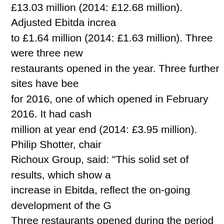£13.03 million (2014: £12.68 million). Adjusted Ebitda increased to £1.64 million (2014: £1.63 million). Three were three new restaurants opened in the year. Three further sites have been secured for 2016, one of which opened in February 2016. It had cash of £4.19 million at year end (2014: £3.95 million). Philip Shotter, chairman of Richoux Group, said: "This solid set of results, which show a strong increase in Ebitda, reflect the on-going development of the Group. Three restaurants opened during the period with an additional restaurant already open now this year; two further sites to open in the coming year, and another site secured for 2017, with all of the restaurants being funded from the Group's cash flow and significant cash reserves." The Group currently has eight Dean's Diner restaurants – the existing restaurants in Chatham, Port Solent, Braintree, Fareham, Bicester, Trowbridge and new restaurant in Hempstead Valley; which opened in June 2015 and Orpington which opened in February 2016. The Group took possession of the new Dean's Diner in Yate on 21 March 2016 and this is due to open in 2016 and an agreement for lease has been exchanged for a